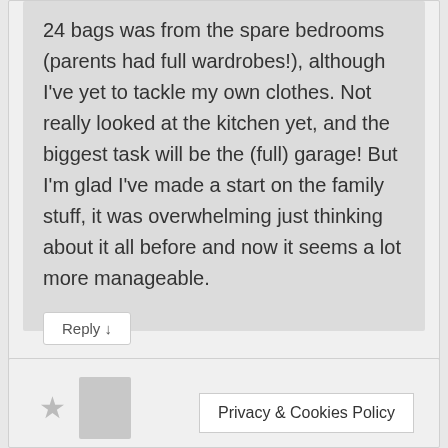24 bags was from the spare bedrooms (parents had full wardrobes!), although I've yet to tackle my own clothes. Not really looked at the kitchen yet, and the biggest task will be the (full) garage! But I'm glad I've made a start on the family stuff, it was overwhelming just thinking about it all before and now it seems a lot more manageable.
Reply ↓
Privacy & Cookies Policy